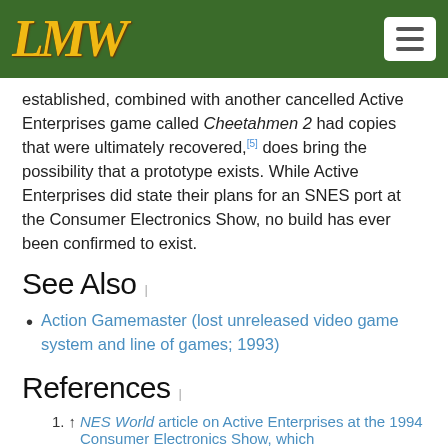LMW (logo) | menu button
established, combined with another cancelled Active Enterprises game called Cheetahmen 2 had copies that were ultimately recovered,[5] does bring the possibility that a prototype exists. While Active Enterprises did state their plans for an SNES port at the Consumer Electronics Show, no build has ever been confirmed to exist.
See Also
Action Gamemaster (lost unreleased video game system and line of games; 1993)
References
1. ↑ NES World article on Active Enterprises at the 1994 Consumer Electronics Show, which